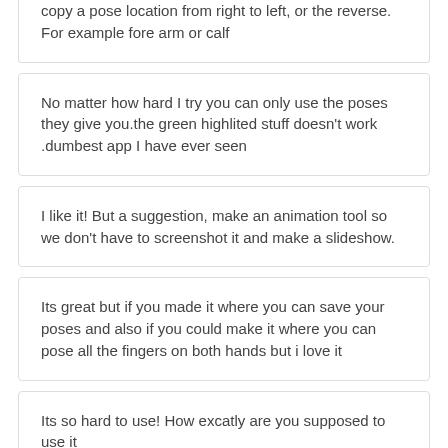copy a pose location from right to left, or the reverse. For example fore arm or calf
No matter how hard I try you can only use the poses they give you.the green highlited stuff doesn't work .dumbest app I have ever seen
I like it! But a suggestion, make an animation tool so we don't have to screenshot it and make a slideshow.
Its great but if you made it where you can save your poses and also if you could make it where you can pose all the fingers on both hands but i love it
Its so hard to use! How excatly are you supposed to use it